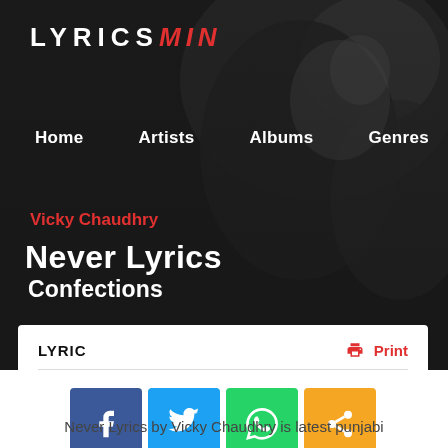[Figure (screenshot): Hero banner with dark background showing blurred silhouette of a person, used as website header background]
LYRICS MIN
Home   Artists   Albums   Genres   News
Vicky Chaudhry
Never Lyrics
Confections
LYRIC
Print
[Figure (infographic): Social share buttons: Facebook (blue), Twitter (light blue), WhatsApp (green), Share (orange)]
Never Lyrics by Vicky Chaudhry is latest punjabi